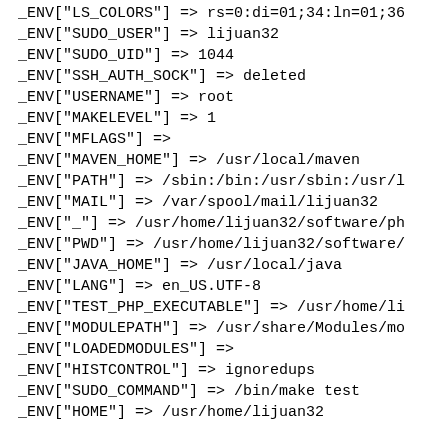_ENV["LS_COLORS"] => rs=0:di=01;34:ln=01;36
_ENV["SUDO_USER"] => lijuan32
_ENV["SUDO_UID"] => 1044
_ENV["SSH_AUTH_SOCK"] => deleted
_ENV["USERNAME"] => root
_ENV["MAKELEVEL"] => 1
_ENV["MFLAGS"] =>
_ENV["MAVEN_HOME"] => /usr/local/maven
_ENV["PATH"] => /sbin:/bin:/usr/sbin:/usr/l
_ENV["MAIL"] => /var/spool/mail/lijuan32
_ENV["_"] => /usr/home/lijuan32/software/ph
_ENV["PWD"] => /usr/home/lijuan32/software/
_ENV["JAVA_HOME"] => /usr/local/java
_ENV["LANG"] => en_US.UTF-8
_ENV["TEST_PHP_EXECUTABLE"] => /usr/home/li
_ENV["MODULEPATH"] => /usr/share/Modules/mo
_ENV["LOADEDMODULES"] =>
_ENV["HISTCONTROL"] => ignoredups
_ENV["SUDO_COMMAND"] => /bin/make test
_ENV["HOME"] => /usr/home/lijuan32